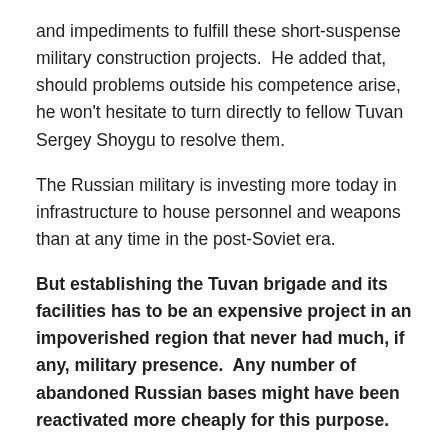and impediments to fulfill these short-suspense military construction projects.  He added that, should problems outside his competence arise, he won't hesitate to turn directly to fellow Tuvan Sergey Shoygu to resolve them.
The Russian military is investing more today in infrastructure to house personnel and weapons than at any time in the post-Soviet era.
But establishing the Tuvan brigade and its facilities has to be an expensive project in an impoverished region that never had much, if any, military presence.  Any number of abandoned Russian bases might have been reactivated more cheaply for this purpose.
The brigade will serve, in one of its capacities, as a peacekeeping (or intervention) force in Central Asia.  The